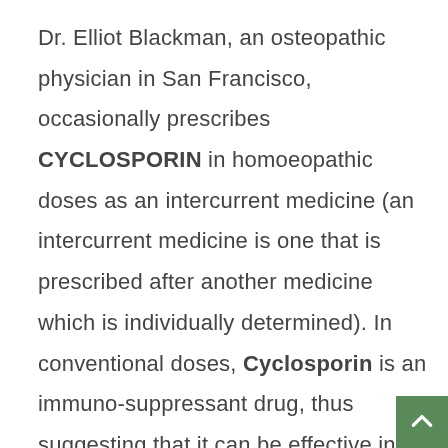Dr. Elliot Blackman, an osteopathic physician in San Francisco, occasionally prescribes CYCLOSPORIN in homoeopathic doses as an intercurrent medicine (an intercurrent medicine is one that is prescribed after another medicine which is individually determined). In conventional doses, Cyclosporin is an immuno-suppressant drug, thus suggesting that it can be effective in homoeopathic doses for treating people